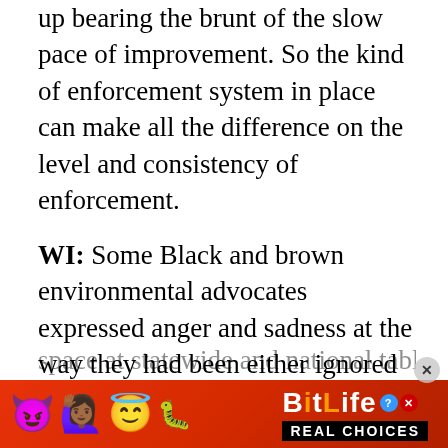up bearing the brunt of the slow pace of improvement. So the kind of enforcement system in place can make all the difference on the level and consistency of enforcement.
WI: Some Black and brown environmental advocates expressed anger and sadness at the way they had been either ignored or dismissed at national environmental conferences, despite being disproportionately impacted by air pollution, housing toxins and resulting diseases. Is there a prescribed manner for demanding space at statewide and national tables on
[Figure (other): BitLife app advertisement banner with emoji characters (devil, woman with arms raised, angel face, ghost/sperm emoji), BitLife logo with question mark and X icons, REAL CHOICES tagline on black background, red/orange gradient background]